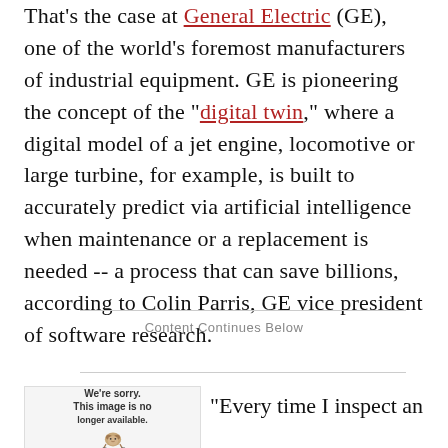That's the case at General Electric (GE), one of the world's foremost manufacturers of industrial equipment. GE is pioneering the concept of the "digital twin," where a digital model of a jet engine, locomotive or large turbine, for example, is built to accurately predict via artificial intelligence when maintenance or a replacement is needed -- a process that can save billions, according to Colin Parris, GE vice president of software research.
Content Continues Below
[Figure (illustration): Image placeholder showing a sloth illustration with text 'We're sorry. This image is no longer available.']
"Every time I inspect an